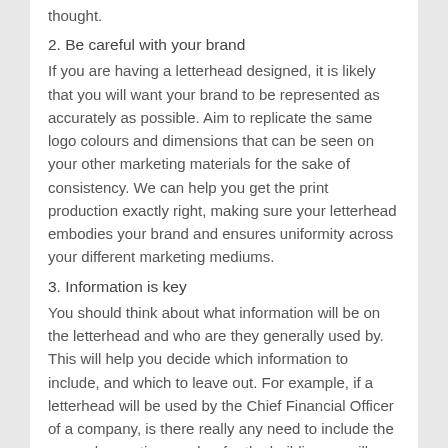thought.
2. Be careful with your brand
If you are having a letterhead designed, it is likely that you will want your brand to be represented as accurately as possible. Aim to replicate the same logo colours and dimensions that can be seen on your other marketing materials for the sake of consistency. We can help you get the print production exactly right, making sure your letterhead embodies your brand and ensures uniformity across your different marketing mediums.
3. Information is key
You should think about what information will be on the letterhead and who are they generally used by. This will help you decide which information to include, and which to leave out. For example, if a letterhead will be used by the Chief Financial Officer of a company, is there really any need to include the general reception number for the building, or will a departmental number suffice? You can also create different letterhead designs for different parts of the company or the varying products/services that you